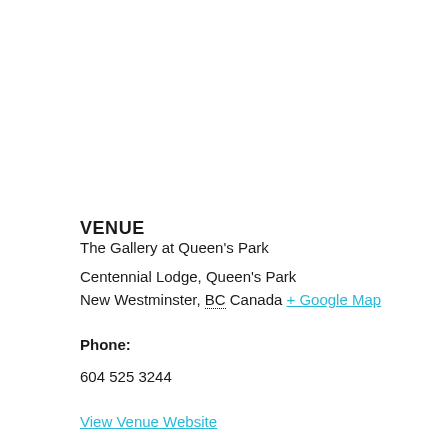VENUE
The Gallery at Queen's Park
Centennial Lodge, Queen's Park
New Westminster, BC Canada + Google Map
Phone:
604 525 3244
View Venue Website